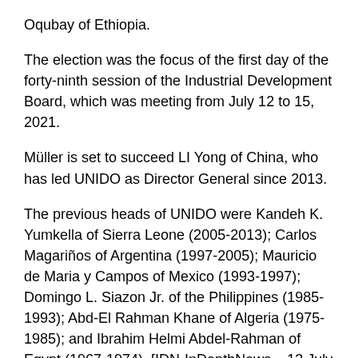Oqubay of Ethiopia.
The election was the focus of the first day of the forty-ninth session of the Industrial Development Board, which was meeting from July 12 to 15, 2021.
Müller is set to succeed LI Yong of China, who has led UNIDO as Director General since 2013.
The previous heads of UNIDO were Kandeh K. Yumkella of Sierra Leone (2005-2013); Carlos Magariños of Argentina (1997-2005); Mauricio de Maria y Campos of Mexico (1993-1997); Domingo L. Siazon Jr. of the Philippines (1985-1993); Abd-El Rahman Khane of Algeria (1975-1985); and Ibrahim Helmi Abdel-Rahman of Egypt (1967-1974). [IDN-InDepthNews – 13 July 2021]
Photo (From left to right): Ambassador Dominika Krois, Permanent Representative of Poland to UNIDO and President of the Industrial Development Board; Gerd Müller, Director General-elect of UNIDO; at the forty-ninth